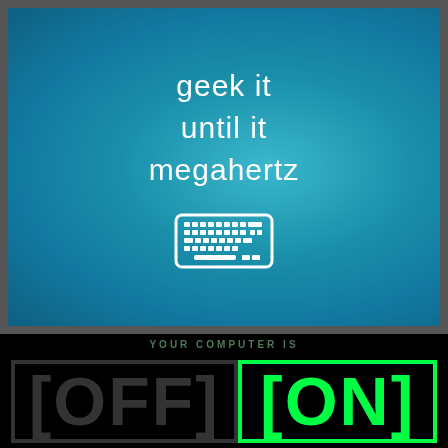[Figure (illustration): Teal/blue gradient background with white text reading 'geek it until it megahertz' and a white keyboard icon below the text]
YOUR COMPUTER IS
[Figure (illustration): Black background with dark gray bracketed text '[OFF]' on the left and bright green bracketed text '[ON]' on the right, indicating computer power state]